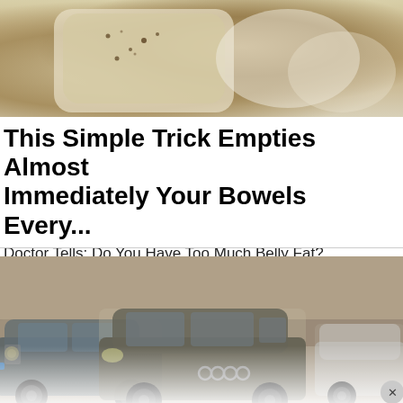[Figure (photo): Close-up photo of what appears to be a bar of soap or similar product with dark speckles on a light surface]
This Simple Trick Empties Almost Immediately Your Bowels Every...
Doctor Tells: Do You Have Too Much Belly Fat? Eat This Before Bed)
Gundry MD | Total Restore | Sponsored
[Figure (photo): Photo of multiple dusty/dirty cars parked in what appears to be an indoor facility. Visible cars include a BMW X5 and an Audi Q7, all covered in dust.]